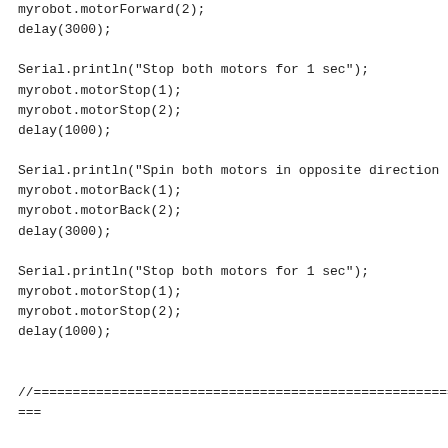myrobot.motorForward(2);
delay(3000);
Serial.println("Stop both motors for 1 sec");
myrobot.motorStop(1);
myrobot.motorStop(2);
delay(1000);
Serial.println("Spin both motors in opposite direction (3 sec)");
myrobot.motorBack(1);
myrobot.motorBack(2);
delay(3000);
Serial.println("Stop both motors for 1 sec");
myrobot.motorStop(1);
myrobot.motorStop(2);
delay(1000);
//===============================================================